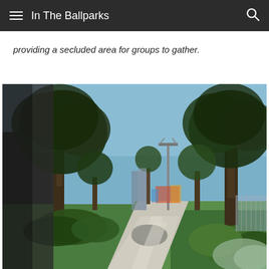In The Ballparks
providing a secluded area for groups to gather.
[Figure (photo): Outdoor park scene with a paved walkway stretching into the distance, flanked by large mature trees with green foliage, grass lawns, and shrubs. A light pole is visible in the mid-distance, with playground equipment faintly visible in the background. The photo is taken from a low angle showing the path leading away from the viewer.]